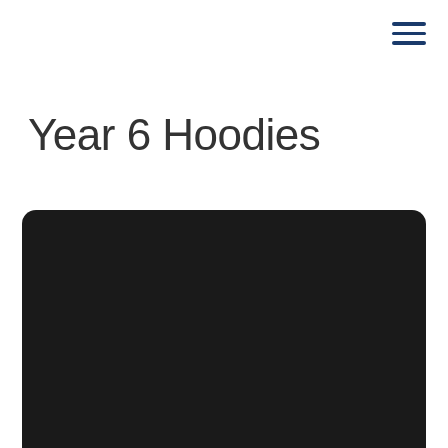[Figure (other): Hamburger menu icon with three horizontal dark blue lines in the top right corner]
Year 6 Hoodies
[Figure (photo): Large dark/black image area, likely showing a hoodie product photo, cropped at the bottom of the page]